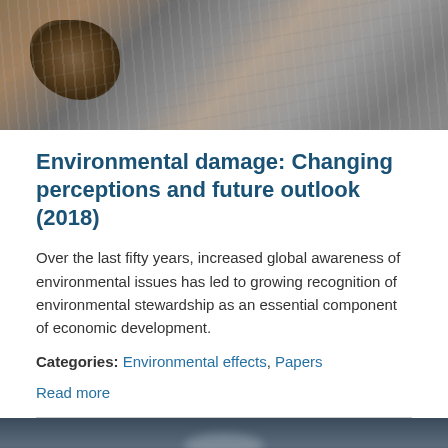[Figure (photo): Close-up photograph of environmental damage — rocky and muddy terrain with water, showing eroded rocky surfaces in brown and grey tones]
Environmental damage: Changing perceptions and future outlook (2018)
Over the last fifty years, increased global awareness of environmental issues has led to growing recognition of environmental stewardship as an essential component of economic development.
Categories: Environmental effects, Papers
Read more
[Figure (photo): Partial photograph of a dark blue-grey scene, possibly water or stormy sky with faint light reflection]